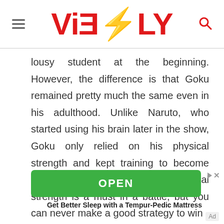ViEBLY
lousy student at the beginning. However, the difference is that Goku remained pretty much the same even in his adulthood. Unlike Naruto, who started using his brain later in the show, Goku only relied on his physical strength and kept training to become more powerful physically. Physical strength is a must in a battle, but you can never make a good strategy to win
[Figure (other): Green OPEN button advertisement banner]
Get Better Sleep with a Tempur-Pedic Mattress
Ad